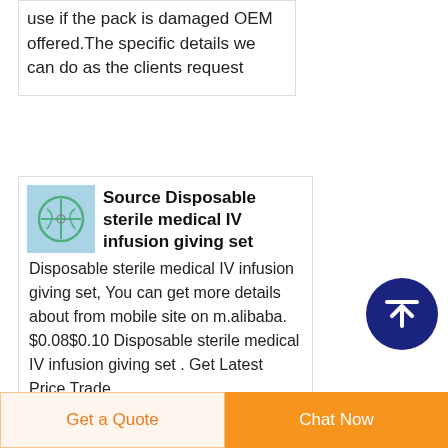use if the pack is damaged OEM offered.The specific details we can do as the clients request
[Figure (photo): Small thumbnail image of disposable sterile medical IV infusion giving set on blue/teal background]
Source Disposable sterile medical IV infusion giving set
Disposable sterile medical IV infusion giving set, You can get more details about from mobile site on m.alibaba. $0.08$0.10 Disposable sterile medical IV infusion giving set . Get Latest Price Trade...
[Figure (other): Dark navy blue circular scroll-to-top button with upward arrow icon]
Get a Quote | Chat Now